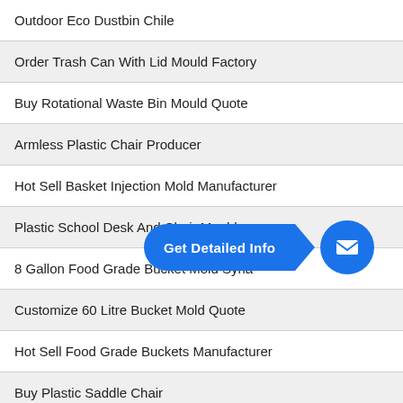Outdoor Eco Dustbin Chile
Order Trash Can With Lid Mould Factory
Buy Rotational Waste Bin Mould Quote
Armless Plastic Chair Producer
Hot Sell Basket Injection Mold Manufacturer
Plastic School Desk And Chair Mould
8 Gallon Food Grade Bucket Mold Syria
Customize 60 Litre Bucket Mold Quote
Hot Sell Food Grade Buckets Manufacturer
Buy Plastic Saddle Chair